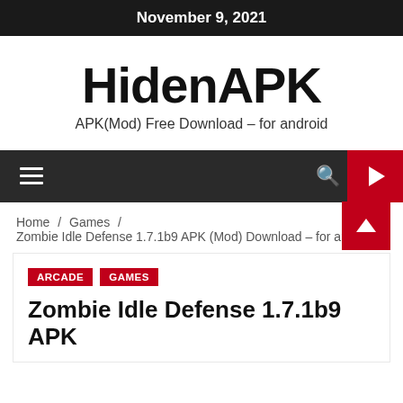November 9, 2021
HidenAPK
APK(Mod) Free Download – for android
☰  🔍  ▶
Home / Games / Zombie Idle Defense 1.7.1b9 APK (Mod) Download – for android
ARCADE
GAMES
Zombie Idle Defense 1.7.1b9 APK